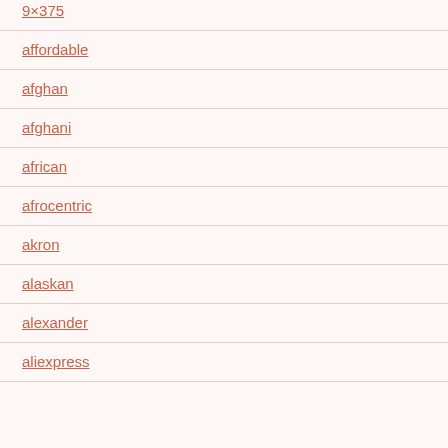9×375
affordable
afghan
afghani
african
afrocentric
akron
alaskan
alexander
aliexpress